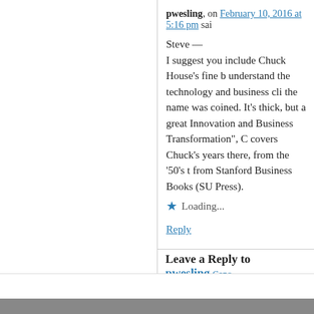pwesling, on February 10, 2016 at 5:16 pm sai
Steve —
I suggest you include Chuck House's fine b understand the technology and business cli the name was coined. It's thick, but a great Innovation and Business Transformation", C covers Chuck's years there, from the '50's t from Stanford Business Books (SU Press).
Loading...
Reply
Leave a Reply to pwesling Canc
Enter your comment here...
Powered by WordPres